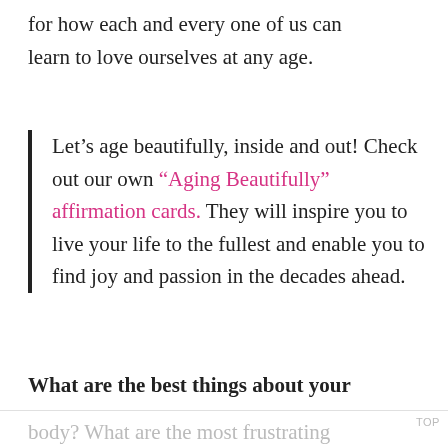for how each and every one of us can learn to love ourselves at any age.
Let’s age beautifully, inside and out! Check out our own “Aging Beautifully” affirmation cards. They will inspire you to live your life to the fullest and enable you to find joy and passion in the decades ahead.
What are the best things about your
body? What are the most frustrating